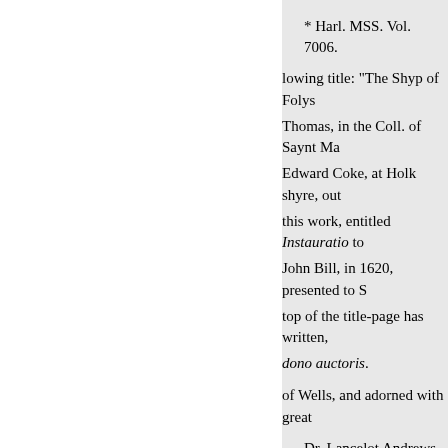* Harl. MSS. Vol. 7006.
lowing title: "The Shyp of Folys Thomas, in the Coll. of Saynt Ma Edward Coke, at Holk shyre, out this work, entitled Instauratio to John Bill, in 1620, presented to S top of the title-page has written, dono auctoris.
of Wells, and adorned with great
Dr. Lancelot Andrews, bishop
Mr. Chamberlain, in a letter to
bassador at Holland, dated at Lor between Hercules's
tions, that Mr. Henry Cuffe, who verses:
his treasons, having long since
censure, that a fool could not h